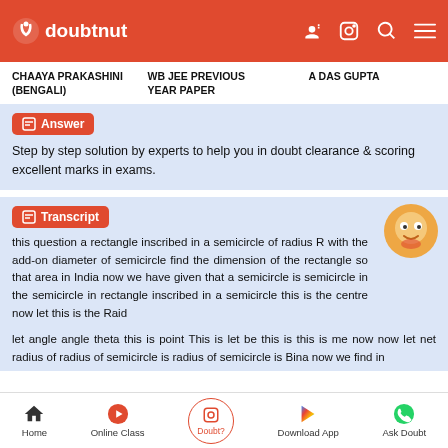doubtnut
CHAAYA PRAKASHINI (BENGALI)   WB JEE PREVIOUS YEAR PAPER   A DAS GUPTA
Answer
Step by step solution by experts to help you in doubt clearance & scoring excellent marks in exams.
Transcript
this question a rectangle inscribed in a semicircle of radius R with the add-on diameter of semicircle find the dimension of the rectangle so that area in India now we have given that a semicircle is semicircle in the semicircle in rectangle inscribed in a semicircle this is the centre now let this is the Raid
let angle angle theta this is point This is let be this is this is me now now let net radius of radius of semicircle is radius of semicircle is Bina now we find in
Home   Online Class   Doubt?   Download App   Ask Doubt